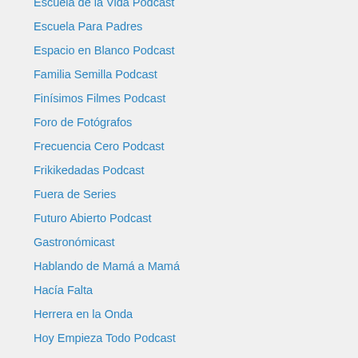Escuela de la Vida Podcast
Escuela Para Padres
Espacio en Blanco Podcast
Familia Semilla Podcast
Finísimos Filmes Podcast
Foro de Fotógrafos
Frecuencia Cero Podcast
Frikikedadas Podcast
Fuera de Series
Futuro Abierto Podcast
Gastronómicast
Hablando de Mamá a Mamá
Hacía Falta
Herrera en la Onda
Hoy Empieza Todo Podcast